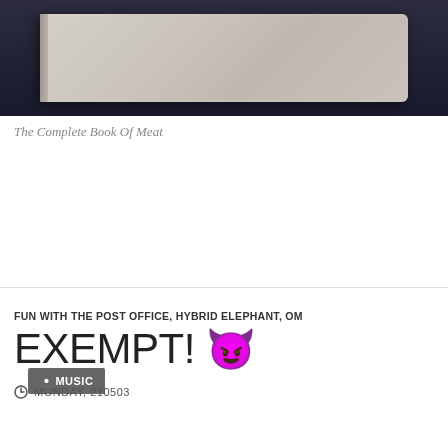[Figure (photo): A light grey/cream colored hardcover book photographed from above on a dark background, showing the top and front cover.]
The Complete Book Of Meat
• MUSIC
FUN WITH THE POST OFFICE, HYBRID ELEPHANT, OM
EXEMPT! 😈
🕐 MONDAY, 210503